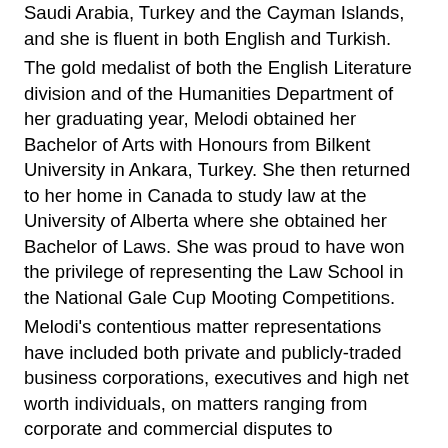Saudi Arabia, Turkey and the Cayman Islands, and she is fluent in both English and Turkish. The gold medalist of both the English Literature division and of the Humanities Department of her graduating year, Melodi obtained her Bachelor of Arts with Honours from Bilkent University in Ankara, Turkey. She then returned to her home in Canada to study law at the University of Alberta where she obtained her Bachelor of Laws. She was proud to have won the privilege of representing the Law School in the National Gale Cup Mooting Competitions. Melodi's contentious matter representations have included both private and publicly-traded business corporations, executives and high net worth individuals, on matters ranging from corporate and commercial disputes to construction, employment, partnership, strata and business corporate governance disputes. Melodi's non-contentious matters have included advising on estates, inter vivos and testamentary trusts,